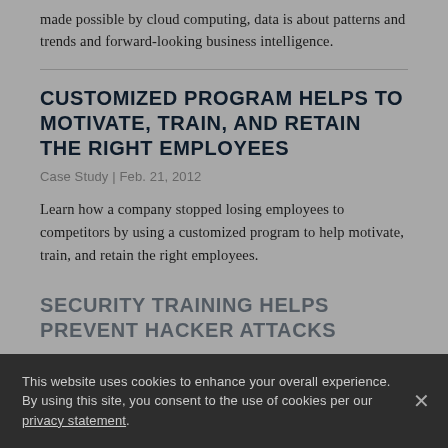made possible by cloud computing, data is about patterns and trends and forward-looking business intelligence.
CUSTOMIZED PROGRAM HELPS TO MOTIVATE, TRAIN, AND RETAIN THE RIGHT EMPLOYEES
Case Study | Feb. 21, 2012
Learn how a company stopped losing employees to competitors by using a customized program to help motivate, train, and retain the right employees.
This website uses cookies to enhance your overall experience. By using this site, you consent to the use of cookies per our privacy statement.